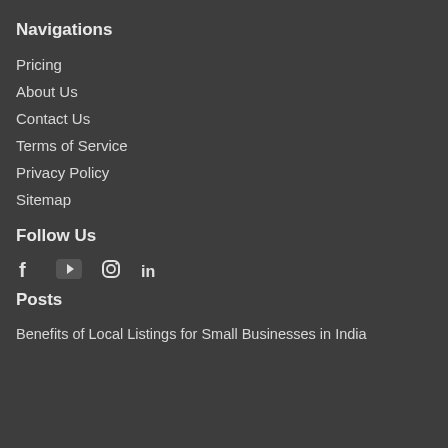Navigations
Pricing
About Us
Contact Us
Terms of Service
Privacy Policy
Sitemap
Follow Us
[Figure (infographic): Social media icons: Facebook, YouTube, Instagram, LinkedIn]
Posts
Benefits of Local Listings for Small Businesses in India